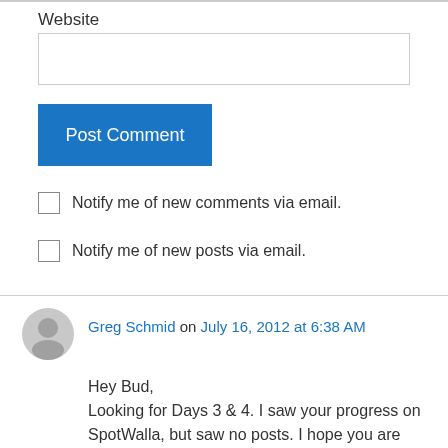Website
Post Comment
Notify me of new comments via email.
Notify me of new posts via email.
Greg Schmid on July 16, 2012 at 6:38 AM
Hey Bud,
Looking for Days 3 & 4. I saw your progress on SpotWalla, but saw no posts. I hope you are OK and still having a great time. Let us know how it's